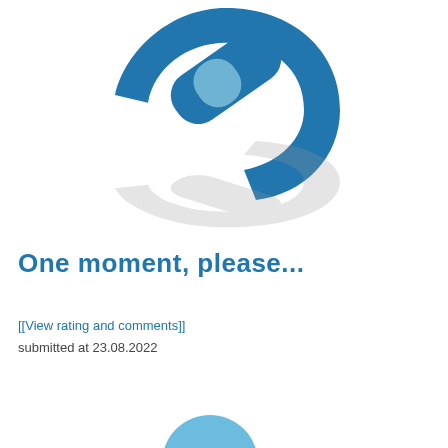[Figure (logo): Blue chain-link / edit icon logo with a light blue checkmark, shown above its grey reflection on white background]
One moment, please...
[[View rating and comments]]
submitted at 23.08.2022
[Figure (logo): Partial blue logo at bottom of page (cropped)]